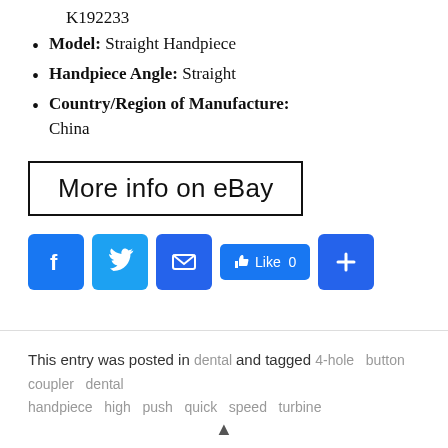K192233
Model: Straight Handpiece
Handpiece Angle: Straight
Country/Region of Manufacture: China
[Figure (other): More info on eBay button with black border]
[Figure (other): Social sharing icons: Facebook, Twitter, Email, Like 0, Plus]
This entry was posted in dental and tagged 4-hole button coupler dental handpiece high push quick speed turbine